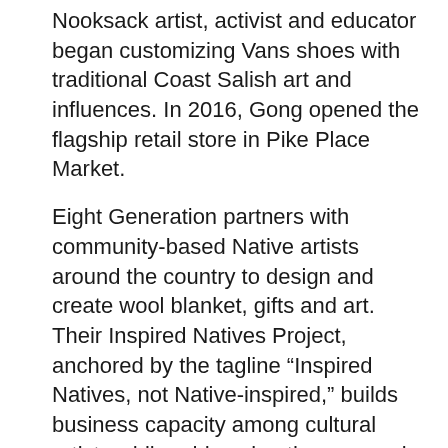Nooksack artist, activist and educator began customizing Vans shoes with traditional Coast Salish art and influences. In 2016, Gong opened the flagship retail store in Pike Place Market.
Eight Generation partners with community-based Native artists around the country to design and create wool blanket, gifts and art. Their Inspired Natives Project, anchored by the tagline “Inspired Natives, not Native-inspired,” builds business capacity among cultural artists while addressing the economic impact of cultural appropriation. Last year, the Snoqualmie Tribe acquired Eight Generation.
Since the pandemic, the flagship store has temporarily closed. Customers are still able to make purchases online and support native artists. In support of the indigenous community, Eight Generation has donated over 10,000 masks to Seattle Indian Health Board.
Photo: Eight Generation — continues below